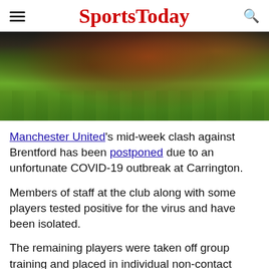SportsToday
[Figure (photo): A footballer lying face-down on a grass pitch, wearing a red jersey, with hands touching the ground.]
Manchester United's mid-week clash against Brentford has been postponed due to an unfortunate COVID-19 outbreak at Carrington.
Members of staff at the club along with some players tested positive for the virus and have been isolated.
The remaining players were taken off group training and placed in individual non-contact sessions.
The positive CPR tests came back over the weekend